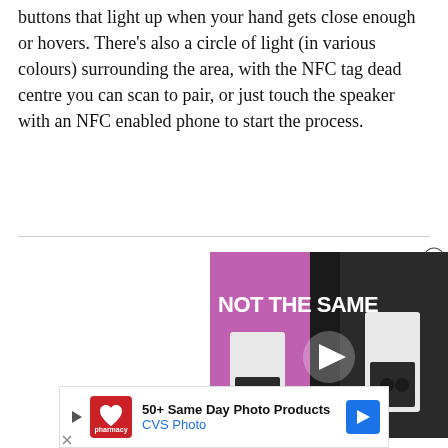buttons that light up when your hand gets close enough or hovers. There's also a circle of light (in various colours) surrounding the area, with the NFC tag dead centre you can scan to pair, or just touch the speaker with an NFC enabled phone to start the process.
[Figure (screenshot): Video player thumbnail showing 'NOT THE SAME' text over a pink/dark background with phone products visible and a play button, with a close (X) button in the top-right corner]
[Figure (screenshot): Advertisement banner for CVS Photo: '50+ Same Day Photo Products' with CVS pharmacy logo and blue directional arrow icon, with a close X button at bottom left]